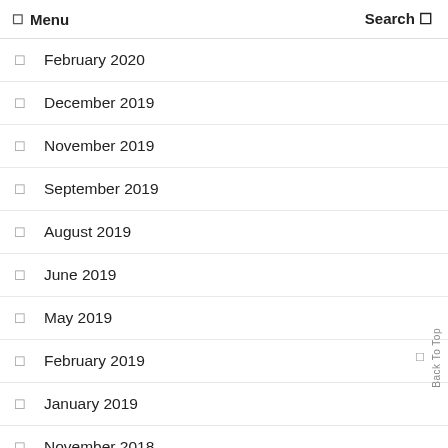Menu  Search
February 2020
December 2019
November 2019
September 2019
August 2019
June 2019
May 2019
February 2019
January 2019
November 2018